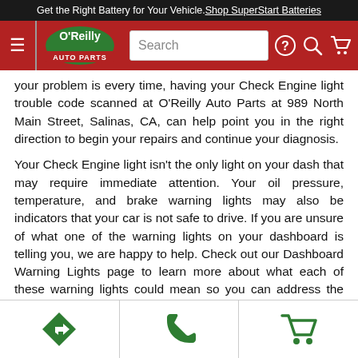Get the Right Battery for Your Vehicle. Shop SuperStart Batteries
[Figure (screenshot): O'Reilly Auto Parts navigation bar with hamburger menu, logo, search bar, help icon, search icon, and cart icon]
your problem is every time, having your Check Engine light trouble code scanned at O'Reilly Auto Parts at 989 North Main Street, Salinas, CA, can help point you in the right direction to begin your repairs and continue your diagnosis.
Your Check Engine light isn't the only light on your dash that may require immediate attention. Your oil pressure, temperature, and brake warning lights may also be indicators that your car is not safe to drive. If you are unsure of what one of the warning lights on your dashboard is telling you, we are happy to help. Check out our Dashboard Warning Lights page to learn more about what each of these warning lights could mean so you can address the problem before it causes engine damage or an accident
[Figure (infographic): Bottom toolbar with three green icons: directions arrow, phone, and shopping cart]